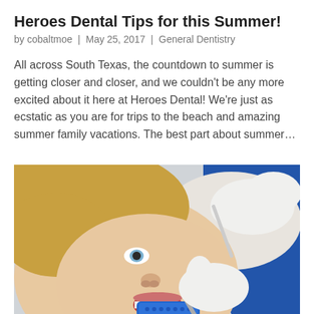Heroes Dental Tips for this Summer!
by cobaltmoe  |  May 25, 2017  |  General Dentistry
All across South Texas, the countdown to summer is getting closer and closer, and we couldn’t be any more excited about it here at Heroes Dental! We’re just as ecstatic as you are for trips to the beach and amazing summer family vacations. The best part about summer…
[Figure (photo): A dental patient (blonde woman) reclines with mouth open while a gloved dental professional uses a blue dental tray/impression tool. The patient looks upward and the dentist’s hands in white gloves are visible.]